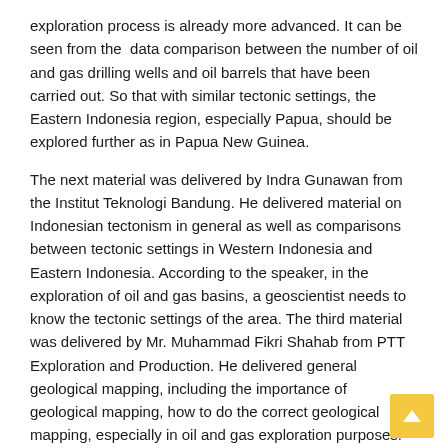exploration process is already more advanced. It can be seen from the  data comparison between the number of oil and gas drilling wells and oil barrels that have been carried out. So that with similar tectonic settings, the Eastern Indonesia region, especially Papua, should be explored further as in Papua New Guinea.
The next material was delivered by Indra Gunawan from the Institut Teknologi Bandung. He delivered material on Indonesian tectonism in general as well as comparisons between tectonic settings in Western Indonesia and Eastern Indonesia. According to the speaker, in the exploration of oil and gas basins, a geoscientist needs to know the tectonic settings of the area. The third material was delivered by Mr. Muhammad Fikri Shahab from PTT Exploration and Production. He delivered general geological mapping, including the importance of geological mapping, how to do the correct geological mapping, especially in oil and gas exploration purposes.
And the last material came from Ms. Indira Asteriana from the HR MIGAS Community. He delivered material about 'Steps to Win Your Dream Job'. HR MIGAS itself is a human resource community in oil and gas industry companies (including contractors, and contractors rights and Service Companies) that